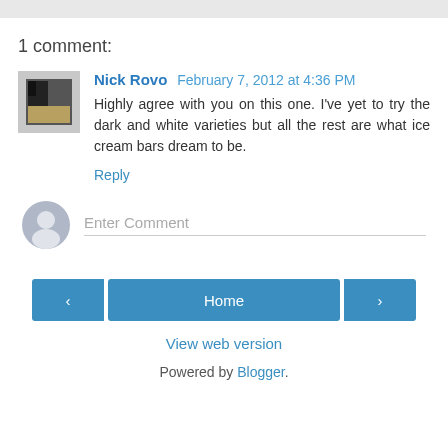1 comment:
Nick Rovo  February 7, 2012 at 4:36 PM
Highly agree with you on this one. I've yet to try the dark and white varieties but all the rest are what ice cream bars dream to be.
Reply
[Figure (other): Enter Comment input field with generic user avatar icon]
[Figure (other): Navigation bar with Previous, Home, and Next buttons]
View web version
Powered by Blogger.